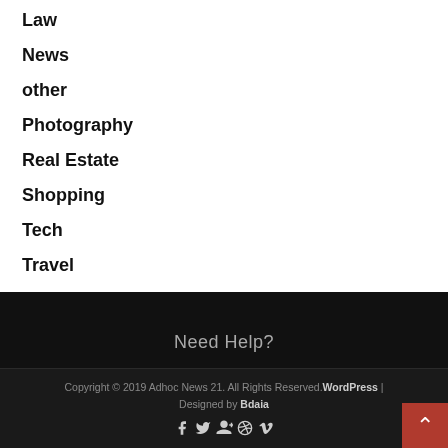Law
News
other
Photography
Real Estate
Shopping
Tech
Travel
Need Help?
Copyright © 2019 Adhoc News 21. All Rights Reserved.WordPress | Designed by Bdaia